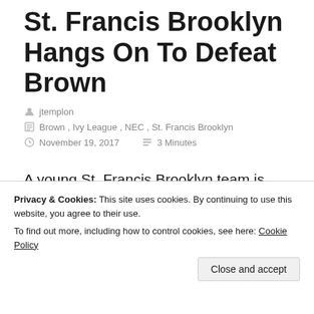St. Francis Brooklyn Hangs On To Defeat Brown
jtemplon
Brown , Ivy League , NEC , St. Francis Brooklyn
November 19, 2017   3 Minutes
A young St. Francis Brooklyn team is learning how to win. After falling to Manhattan in overtime on
Privacy & Cookies: This site uses cookies. By continuing to use this website, you agree to their use.
To find out more, including how to control cookies, see here: Cookie Policy
The Terriers led by as many as 10 points in the second